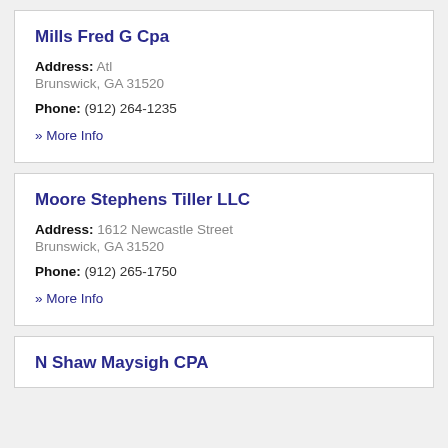Mills Fred G Cpa
Address: Atl
Brunswick, GA 31520
Phone: (912) 264-1235
» More Info
Moore Stephens Tiller LLC
Address: 1612 Newcastle Street
Brunswick, GA 31520
Phone: (912) 265-1750
» More Info
N Shaw Maysigh CPA